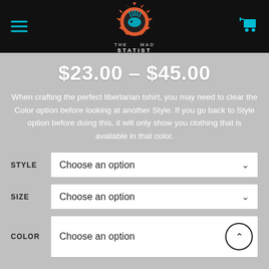[Figure (logo): The Mad Statist logo — orange gear with teal porcupine inside, 'THE MAD STATIST' text]
$23.00 – $45.00
When crafting the perfect libertarian tshirt, you may need to clear the Color option before looking at another Style.  If you go back to Style option before doing this, it will only show you clothing that is available in that color.
STYLE — Choose an option
SIZE — Choose an option
COLOR — Choose an option